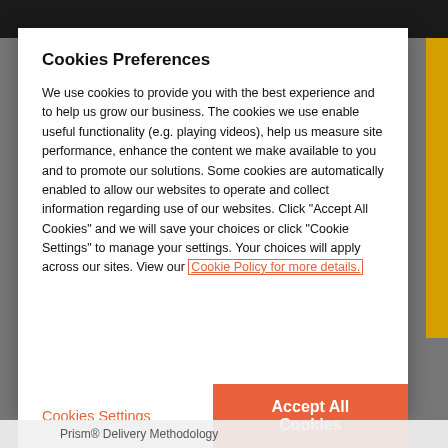Cookies Preferences
We use cookies to provide you with the best experience and to help us grow our business. The cookies we use enable useful functionality (e.g. playing videos), help us measure site performance, enhance the content we make available to you and to promote our solutions. Some cookies are automatically enabled to allow our websites to operate and collect information regarding use of our websites. Click "Accept All Cookies" and we will save your choices or click "Cookie Settings" to manage your settings. Your choices will apply across our sites. View our Cookie Policy for more details.
Cookies Settings
Accept All Cookies
Prism® Delivery Methodology